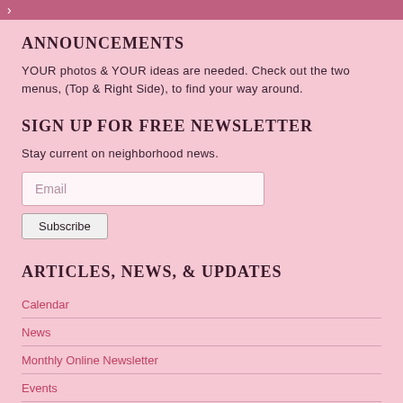ANNOUNCEMENTS
YOUR photos & YOUR ideas are needed. Check out the two menus, (Top & Right Side), to find your way around.
SIGN UP FOR FREE NEWSLETTER
Stay current on neighborhood news.
ARTICLES, NEWS, & UPDATES
Calendar
News
Monthly Online Newsletter
Events
National Night Out